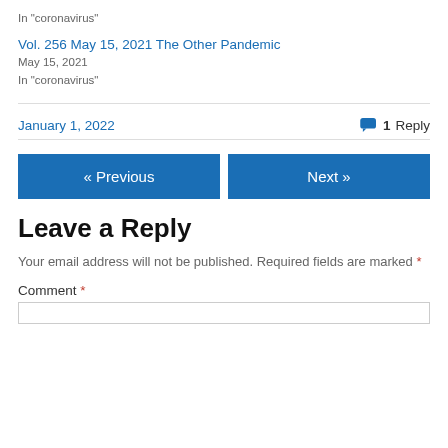In "coronavirus"
Vol. 256 May 15, 2021 The Other Pandemic
May 15, 2021
In "coronavirus"
January 1, 2022
1 Reply
« Previous
Next »
Leave a Reply
Your email address will not be published. Required fields are marked *
Comment *